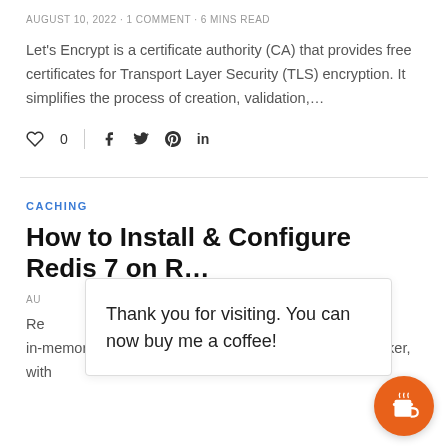AUGUST 10, 2022 · 1 COMMENT · 6 MINS READ
Let's Encrypt is a certificate authority (CA) that provides free certificates for Transport Layer Security (TLS) encryption. It simplifies the process of creation, validation,…
[Figure (infographic): Social sharing bar with heart/like icon showing 0 likes, a vertical divider, and social media icons for Facebook, Twitter, Pinterest, and LinkedIn]
CACHING
How to Install & Configure Redis 7 on R…
AUGUST…
Re… distributed, in-memory key-value database, cache and message broker, with
Thank you for visiting. You can now buy me a coffee!
[Figure (illustration): Orange circular button with a coffee cup icon]